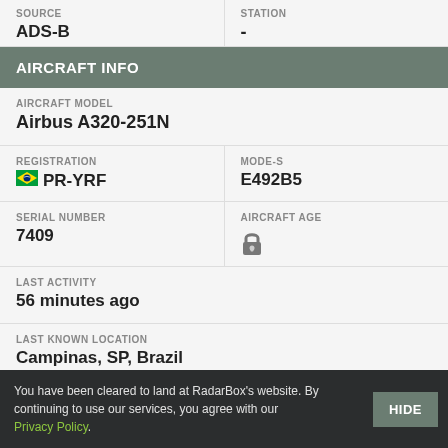| SOURCE | STATION |
| --- | --- |
| ADS-B | - |
AIRCRAFT INFO
| AIRCRAFT MODEL |
| --- |
| Airbus A320-251N |
| REGISTRATION | MODE-S |
| --- | --- |
| 🇧🇷 PR-YRF | E492B5 |
| SERIAL NUMBER | AIRCRAFT AGE |
| --- | --- |
| 7409 | 🔒 |
| LAST ACTIVITY |
| --- |
| 56 minutes ago |
| LAST KNOWN LOCATION |
| --- |
| Campinas, SP, Brazil |
You have been cleared to land at RadarBox's website. By continuing to use our services, you agree with our Privacy Policy.